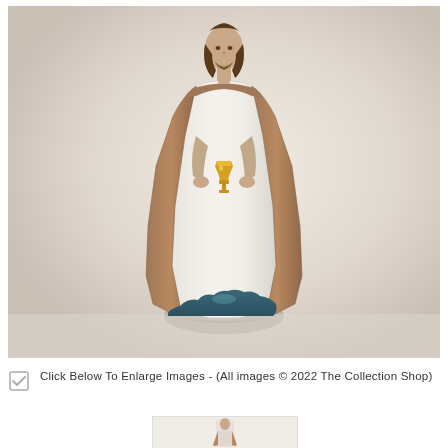[Figure (photo): A ceramic/plaster religious figurine of Jesus Christ standing upright, wearing white robes with a brown cloak/mantle, holding a golden chalice in both hands. The figurine stands on a blue cloud-like base. The background is a neutral off-white/beige gradient.]
Click Below To Enlarge Images - (All images © 2022 The Collection Shop)
[Figure (photo): Thumbnail image of the same religious figurine, partially visible at the bottom of the page.]